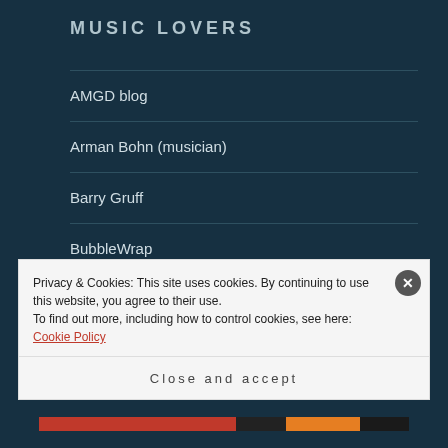MUSIC LOVERS
AMGD blog
Arman Bohn (musician)
Barry Gruff
BubbleWrap
Captain Crankypants
Captive Records
Privacy & Cookies: This site uses cookies. By continuing to use this website, you agree to their use.
To find out more, including how to control cookies, see here: Cookie Policy
Close and accept